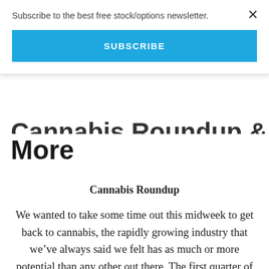Subscribe to the best free stock/options newsletter.
SUBSCRIBE
More
Cannabis Roundup
We wanted to take some time out this midweek to get back to cannabis, the rapidly growing industry that we’ve always said we felt has as much or more potential than any other out there. The first quarter of the 2018 calendar year was rather low key, but with some major